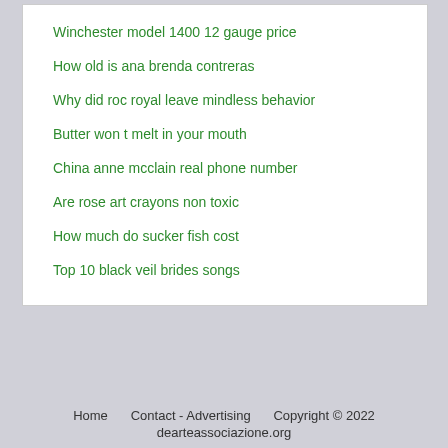Winchester model 1400 12 gauge price
How old is ana brenda contreras
Why did roc royal leave mindless behavior
Butter won t melt in your mouth
China anne mcclain real phone number
Are rose art crayons non toxic
How much do sucker fish cost
Top 10 black veil brides songs
Home    Contact - Advertising    Copyright © 2022
dearteassociazione.org